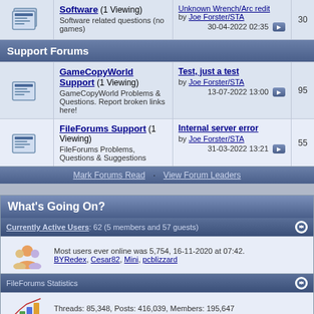Software (1 Viewing) Software related questions (no games) | by Joe Forster/STA 30-04-2022 02:35 | 30
Support Forums
GameCopyWorld Support (1 Viewing) GameCopyWorld Problems & Questions. Report broken links here! | Test, just a test by Joe Forster/STA 13-07-2022 13:00 | 95
FileForums Support (1 Viewing) FileForums Problems, Questions & Suggestions | Internal server error by Joe Forster/STA 31-03-2022 13:21 | 55
Mark Forums Read · View Forum Leaders
What's Going On?
Currently Active Users: 62 (5 members and 57 guests)
Most users ever online was 5,754, 16-11-2020 at 07:42. BYRedex, Cesar82, Mini, pcblizzard
FileForums Statistics
Threads: 85,348, Posts: 416,039, Members: 195,647 Welcome to our newest member, Sephirsem84